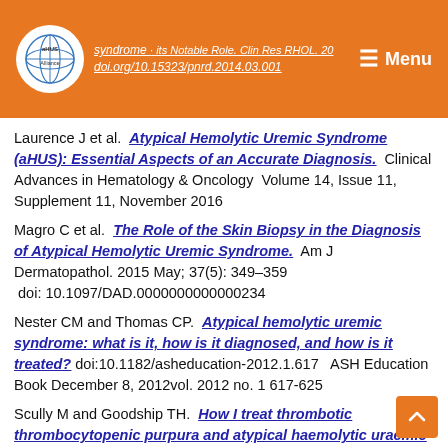aHUS Alliance — Menu header with logo
Laurence J et al. Atypical Hemolytic Uremic Syndrome (aHUS): Essential Aspects of an Accurate Diagnosis. Clinical Advances in Hematology & Oncology Volume 14, Issue 11, Supplement 11, November 2016
Magro C et al. The Role of the Skin Biopsy in the Diagnosis of Atypical Hemolytic Uremic Syndrome. Am J Dermatopathol. 2015 May; 37(5): 349–359 doi: 10.1097/DAD.0000000000000234
Nester CM and Thomas CP. Atypical hemolytic uremic syndrome: what is it, how is it diagnosed, and how is it treated? doi:10.1182/asheducation-2012.1.617 ASH Education Book December 8, 2012vol. 2012 no. 1 617-625
Scully M and Goodship TH. How I treat thrombotic thrombocytopenic purpura and atypical haemolytic uraemic syndrome. Br J Haematol. 2014 Mar; 164(6): 759–766. doi: 10.1111/bjh.12713